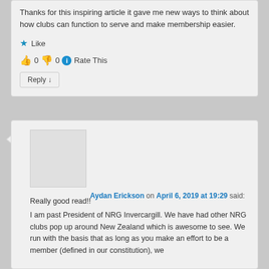Thanks for this inspiring article it gave me new ways to think about how clubs can function to serve and make membership easier.
Like
0  0  Rate This
Reply ↓
Aydan Erickson on April 6, 2019 at 19:29 said:
Really good read!! I am past President of NRG Invercargill. We have had other NRG clubs pop up around New Zealand which is awesome to see. We run with the basis that as long as you make an effort to be a member (defined in our constitution), we